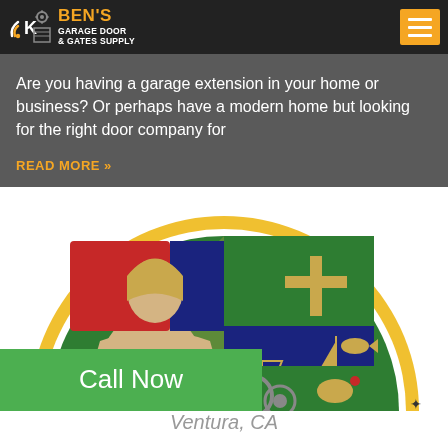BEN'S GARAGE DOOR & GATES SUPPLY
Are you having a garage extension in your home or business? Or perhaps have a modern home but looking for the right door company for
READ MORE »
[Figure (photo): County of Ventura seal/logo — a circular emblem with a robed figure (friar) on the left, and four quadrants showing symbols including an oil derrick, sailboat, fish, gears, and other icons. Yellow border with text 'COU...URA' around the edge.]
Call Now
Ventura, CA